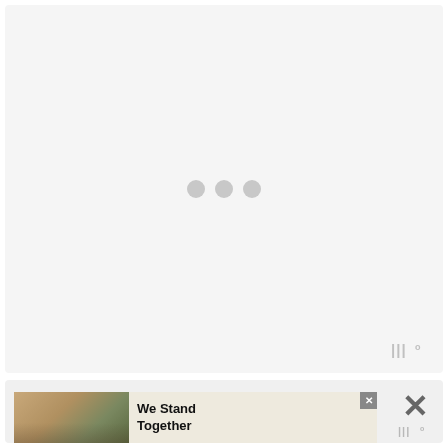[Figure (other): Loading panel with three grey dots indicating content is loading, with a watermark logo in the bottom-right corner]
[Figure (other): Advertisement banner showing a group of people from behind with text 'We Stand Together', with a close button and overlay X symbol]